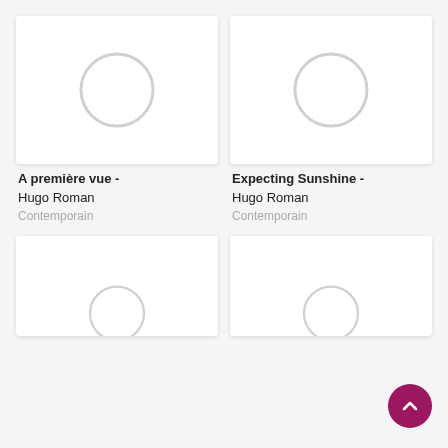[Figure (screenshot): Book cover placeholder card for 'A première vue' with circular loading/placeholder image]
A première vue -
Hugo Roman
Contemporain
[Figure (screenshot): Book cover placeholder card for 'Expecting Sunshine' with circular loading/placeholder image]
Expecting Sunshine -
Hugo Roman
Contemporain
[Figure (screenshot): Book cover placeholder card (partial, bottom left)]
[Figure (screenshot): Book cover placeholder card (partial, bottom right)]